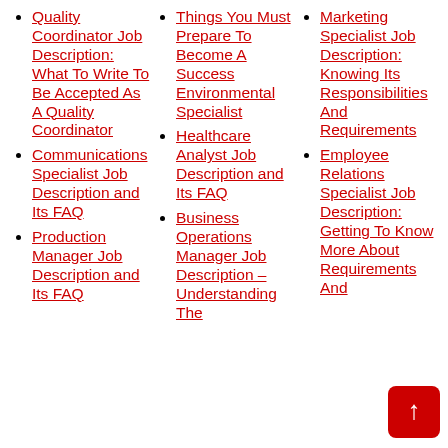Quality Coordinator Job Description: What To Write To Be Accepted As A Quality Coordinator
Communications Specialist Job Description and Its FAQ
Production Manager Job Description and Its FAQ
Things You Must Prepare To Become A Success Environmental Specialist
Healthcare Analyst Job Description and Its FAQ
Business Operations Manager Job Description – Understanding The
Marketing Specialist Job Description: Knowing Its Responsibilities And Requirements
Employee Relations Specialist Job Description: Getting To Know More About Requirements And